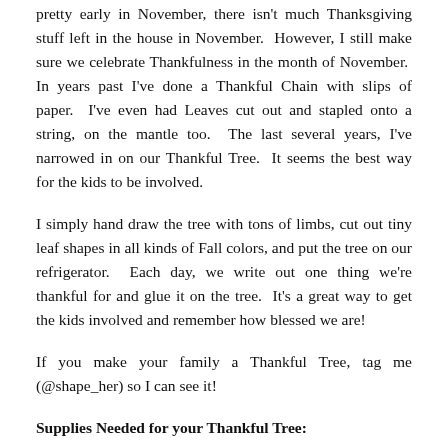pretty early in November, there isn't much Thanksgiving stuff left in the house in November. However, I still make sure we celebrate Thankfulness in the month of November. In years past I've done a Thankful Chain with slips of paper. I've even had Leaves cut out and stapled onto a string, on the mantle too. The last several years, I've narrowed in on our Thankful Tree. It seems the best way for the kids to be involved.
I simply hand draw the tree with tons of limbs, cut out tiny leaf shapes in all kinds of Fall colors, and put the tree on our refrigerator. Each day, we write out one thing we're thankful for and glue it on the tree. It's a great way to get the kids involved and remember how blessed we are!
If you make your family a Thankful Tree, tag me (@shape_her) so I can see it!
Supplies Needed for your Thankful Tree: